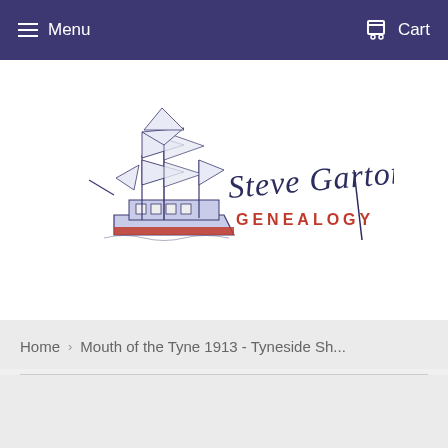Menu  Cart
[Figure (logo): Steve Garton Genealogy logo featuring a tall ship illustration in blue/navy and red with cursive text 'Steve Garton' and 'GENEALOGY' in red capitals]
Home › Mouth of the Tyne 1913 - Tyneside Sh...